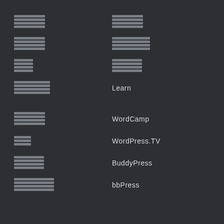[redacted icon] [redacted icon]
[redacted icon] [redacted icon]
[redacted icon] [redacted icon]
[redacted icon] Learn
[redacted icon] WordCamp
[redacted icon] WordPress.TV
[redacted icon] BuddyPress
[redacted icon] bbPress
WordPress.com
Matt